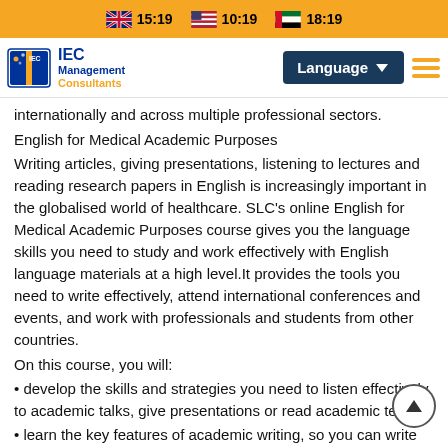🇬🇧 15:19  🇺🇸 10:19  🇦🇪 18:19
[Figure (logo): IEC Management Consultants logo with navigation bar including Language button and hamburger menu]
internationally and across multiple professional sectors.
English for Medical Academic Purposes
Writing articles, giving presentations, listening to lectures and reading research papers in English is increasingly important in the globalised world of healthcare. SLC's online English for Medical Academic Purposes course gives you the language skills you need to study and work effectively with English language materials at a high level.It provides the tools you need to write effectively, attend international conferences and events, and work with professionals and students from other countries.
On this course, you will:
• develop the skills and strategies you need to listen effectively to academic talks, give presentations or read academic texts
• learn the key features of academic writing, so you can write abstracts, articles and research papers clearly and effectively•
expand your academic vocabulary